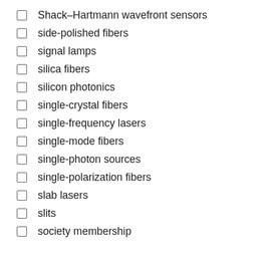Shack–Hartmann wavefront sensors
side-polished fibers
signal lamps
silica fibers
silicon photonics
single-crystal fibers
single-frequency lasers
single-mode fibers
single-photon sources
single-polarization fibers
slab lasers
slits
society membership